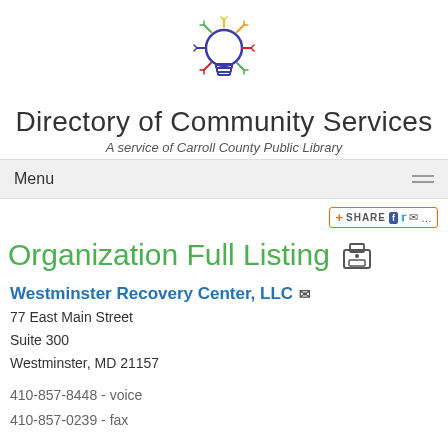[Figure (logo): Colorful lightbulb icon with circuit-like rays in blue, red, yellow, and green]
Directory of Community Services
A service of Carroll County Public Library
Menu
[Figure (other): Share button with Facebook, Twitter, email icons]
Organization Full Listing
Westminster Recovery Center, LLC
77 East Main Street
Suite 300
Westminster, MD 21157
410-857-8448 - voice
410-857-0239 - fax